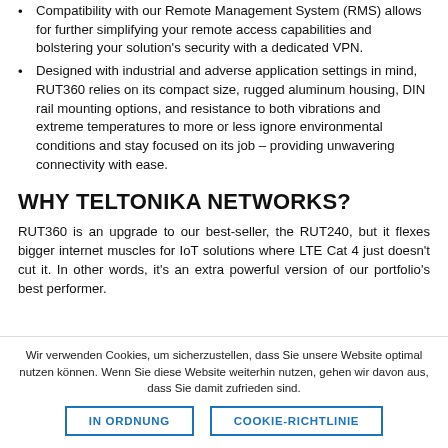Compatibility with our Remote Management System (RMS) allows for further simplifying your remote access capabilities and bolstering your solution's security with a dedicated VPN.
Designed with industrial and adverse application settings in mind, RUT360 relies on its compact size, rugged aluminum housing, DIN rail mounting options, and resistance to both vibrations and extreme temperatures to more or less ignore environmental conditions and stay focused on its job – providing unwavering connectivity with ease.
WHY TELTONIKA NETWORKS?
RUT360 is an upgrade to our best-seller, the RUT240, but it flexes bigger internet muscles for IoT solutions where LTE Cat 4 just doesn't cut it. In other words, it's an extra powerful version of our portfolio's best performer.
Wir verwenden Cookies, um sicherzustellen, dass Sie unsere Website optimal nutzen können. Wenn Sie diese Website weiterhin nutzen, gehen wir davon aus, dass Sie damit zufrieden sind.
IN ORDNUNG    COOKIE-RICHTLINIE